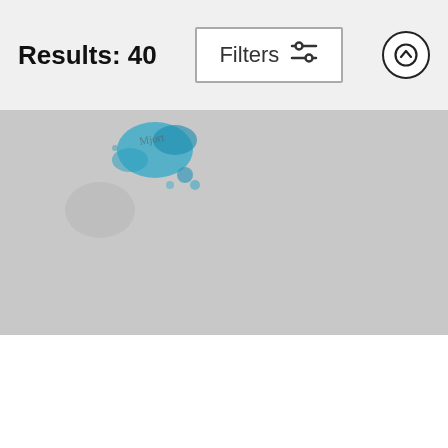Results: 40
[Figure (screenshot): Filters button with sliders icon]
[Figure (screenshot): Scroll up circular arrow button]
[Figure (photo): Pug Life artwork - dark background with blue ink splash and pug caricature]
Pug Life
Canine Caricatures By John L...
$27
[Figure (photo): Meditating Sphynx artwork - grey background with blue ink splash and sphynx cat illustration]
Meditating Sphynx
Canine Caricatures By John L...
$27